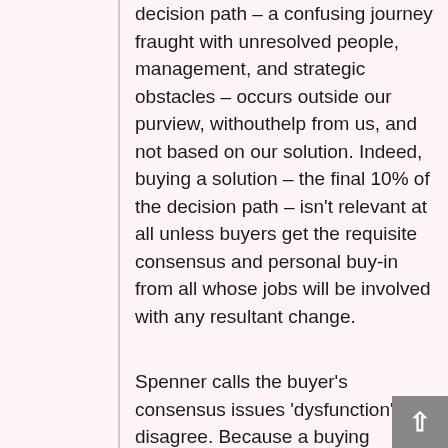decision path – a confusing journey fraught with unresolved people, management, and strategic obstacles – occurs outside our purview, withouthelp from us, and not based on our solution. Indeed, buying a solution – the final 10% of the decision path – isn't relevant at all unless buyers get the requisite consensus and personal buy-in from all whose jobs will be involved with any resultant change.
Spenner calls the buyer's consensus issues 'dysfunction'. I disagree. Because a buying decision is a systems change issue, not a solution choice issue, buyers must first address their rules, roles, people, money, and management